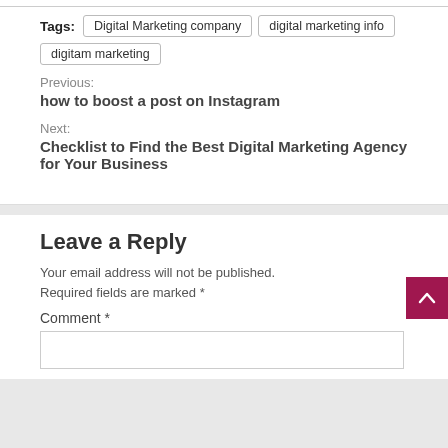Tags: Digital Marketing company | digital marketing info | digitam marketing
Previous: how to boost a post on Instagram
Next: Checklist to Find the Best Digital Marketing Agency for Your Business
Leave a Reply
Your email address will not be published. Required fields are marked *
Comment *